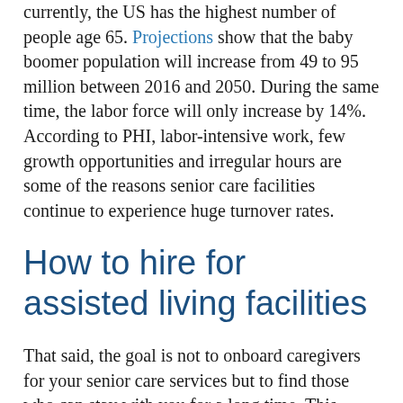currently, the US has the highest number of people age 65. Projections show that the baby boomer population will increase from 49 to 95 million between 2016 and 2050. During the same time, the labor force will only increase by 14%. According to PHI, labor-intensive work, few growth opportunities and irregular hours are some of the reasons senior care facilities continue to experience huge turnover rates.
How to hire for assisted living facilities
That said, the goal is not to onboard caregivers for your senior care services but to find those who can stay with you for a long time. This article will break down the hiring process to help you make the most